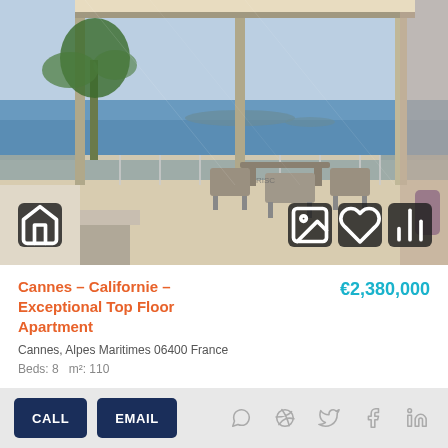[Figure (photo): Interior view of a top floor apartment in Cannes with panoramic sea view through large sliding glass doors, balcony with outdoor furniture, palm trees and Mediterranean sea in the background]
Cannes – Californie – Exceptional Top Floor Apartment
€2,380,000
Cannes, Alpes Maritimes 06400 France
Beds: 8  m²: 110
CALL  EMAIL